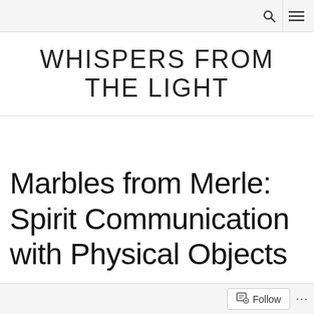🔍 ☰
WHISPERS FROM THE LIGHT
Marbles from Merle: Spirit Communication with Physical Objects
Follow ...